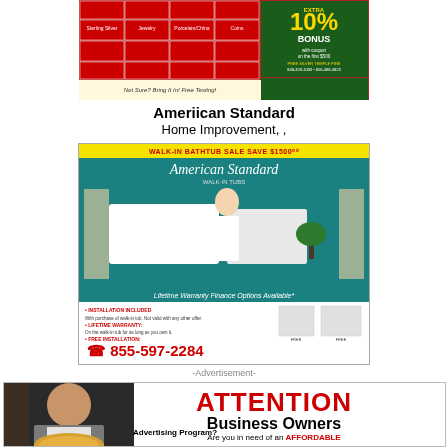[Figure (advertisement): Top advertisement - green and red grid layout with 'EXTRA 10% BONUS' promotional offer, 'Not Sure? Bring It In! Free Testing!' tagline]
Ameriican Standard
Home Improvement, ,
[Figure (advertisement): American Standard walk-in bathtub sale advertisement. Header: 'WALK-IN BATHTUB SALE SAVE $1500'. Shows American Standard logo, woman in robe standing next to white bathtubs, teal/aqua background. 'Lifetime Warranty Finance Options Available'. Phone number: 855-597-2284]
-Advertisement-
[Figure (advertisement): Full-width advertisement showing a man with a pizza on the left side, and on the right: 'ATTENTION Business Owners - Are you in need of an AFFORDABLE Advertising Program?']